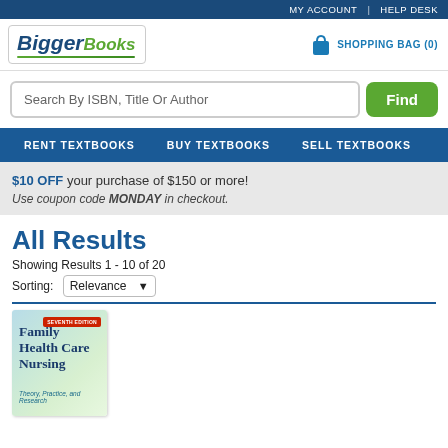MY ACCOUNT | HELP DESK
[Figure (logo): BiggerBooks logo]
SHOPPING BAG (0)
Search By ISBN, Title Or Author
Find
RENT TEXTBOOKS  BUY TEXTBOOKS  SELL TEXTBOOKS
$10 OFF your purchase of $150 or more! Use coupon code MONDAY in checkout.
All Results
Showing Results 1 - 10 of 20
Sorting: Relevance
[Figure (photo): Family Health Care Nursing textbook cover, seventh edition, showing title text on a light blue/green gradient background]